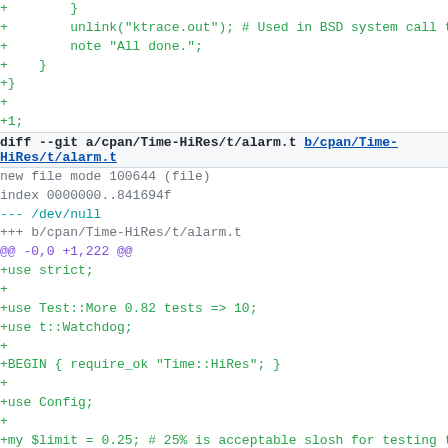+        }
+        unlink("ktrace.out"); # Used in BSD system call trac
+        note "All done.";
+    }
+}
+
+1;
diff --git a/cpan/Time-HiRes/t/alarm.t b/cpan/Time-HiRes/t/alarm.t
new file mode 100644 (file)
index 0000000..841694f
--- /dev/null
+++ b/cpan/Time-HiRes/t/alarm.t
@@ -0,0 +1,222 @@
+use strict;
+
+use Test::More 0.82 tests => 10;
+use t::Watchdog;
+
+BEGIN { require_ok "Time::HiRes"; }
+
+use Config;
+
+my $limit = 0.25; # 25% is acceptable slosh for testing tim
+
+my $xdefine = '';
+if (open(XDEFINE, "xdefine")) {
+    chomp($xdefine = <XDEFINE> || "");
+    close(XDEFINE);
+}
+